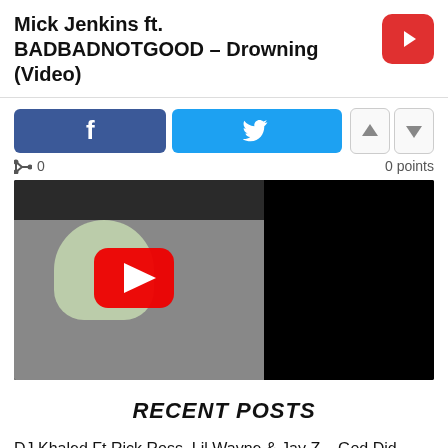Mick Jenkins ft. BADBADNOTGOOD – Drowning (Video)
[Figure (screenshot): YouTube video thumbnail showing a person, with YouTube play button overlay]
RECENT POSTS
DJ Khaled Ft Rick Ross, Lil Wayne & Jay Z – God Did
DJ Khaled Talks New Projects with N.O.R.E. on Drink Champs